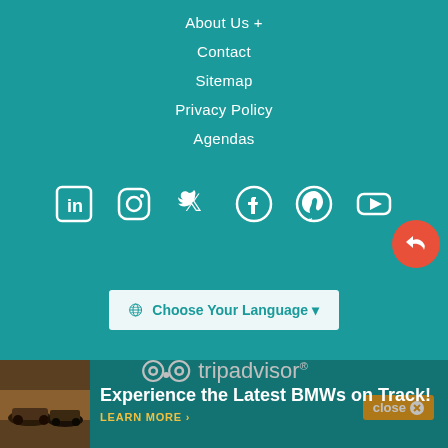About Us +
Contact
Sitemap
Privacy Policy
Agendas
[Figure (infographic): Social media icons row: LinkedIn, Instagram, Twitter, Facebook, Pinterest, YouTube — all white on teal background]
[Figure (infographic): Orange circular share/reply button]
[Figure (infographic): Language selector button with globe icon reading 'Choose Your Language' with dropdown arrow]
[Figure (logo): TripAdvisor logo in white]
[Figure (infographic): Advertisement banner: BMW cars on track image with text 'Experience the Latest BMWs on Track! LEARN MORE >' and close button]